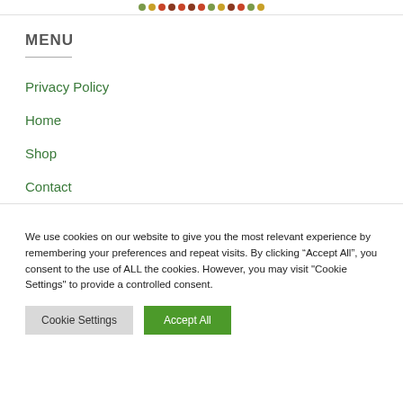decorative header with colored dots
MENU
Privacy Policy
Home
Shop
Contact
We use cookies on our website to give you the most relevant experience by remembering your preferences and repeat visits. By clicking “Accept All”, you consent to the use of ALL the cookies. However, you may visit "Cookie Settings" to provide a controlled consent.
Cookie Settings | Accept All